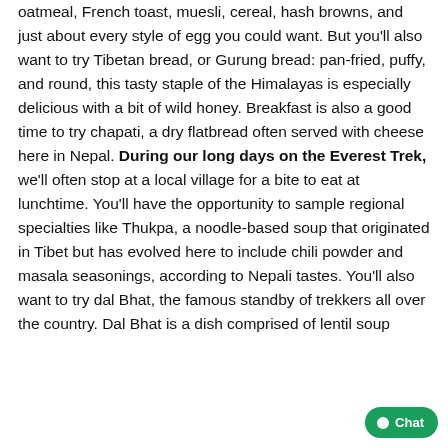oatmeal, French toast, muesli, cereal, hash browns, and just about every style of egg you could want. But you'll also want to try Tibetan bread, or Gurung bread: pan-fried, puffy, and round, this tasty staple of the Himalayas is especially delicious with a bit of wild honey. Breakfast is also a good time to try chapati, a dry flatbread often served with cheese here in Nepal. During our long days on the Everest Trek, we'll often stop at a local village for a bite to eat at lunchtime. You'll have the opportunity to sample regional specialties like Thukpa, a noodle-based soup that originated in Tibet but has evolved here to include chili powder and masala seasonings, according to Nepali tastes. You'll also want to try dal Bhat, the famous standby of trekkers all over the country. Dal Bhat is a dish comprised of lentil soup